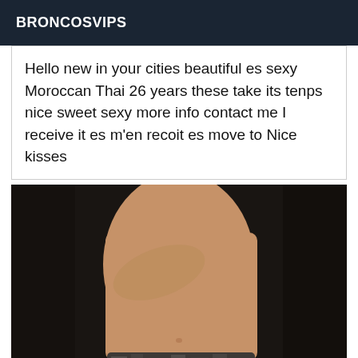BRONCOSVIPS
Hello new in your cities beautiful es sexy Moroccan Thai 26 years these take its tenps nice sweet sexy more info contact me I receive it es m'en recoit es move to Nice kisses
[Figure (photo): A blurred/censored photo of a person's torso against a dark background, wearing patterned shorts]